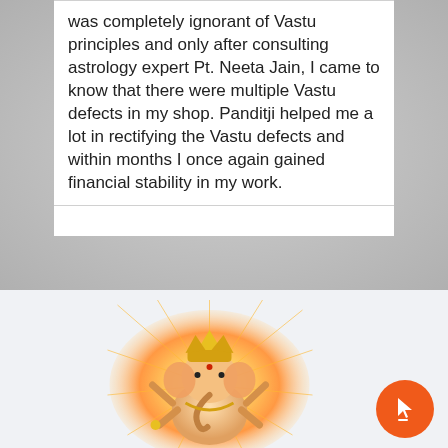was completely ignorant of Vastu principles and only after consulting astrology expert Pt. Neeta Jain, I came to know that there were multiple Vastu defects in my shop. Panditji helped me a lot in rectifying the Vastu defects and within months I once again gained financial stability in my work.
[Figure (illustration): Illustration of Lord Ganesha with golden ornaments and crown, seated against a radiant circular orange/golden glow background, holding various objects in multiple hands.]